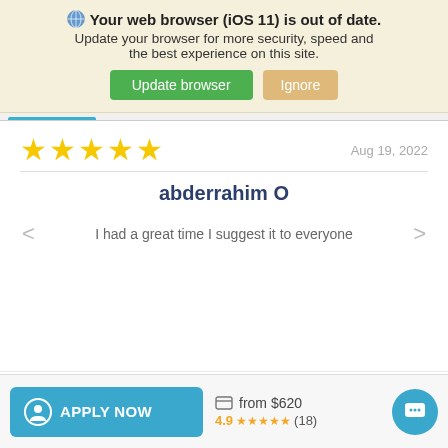Your web browser (iOS 11) is out of date. Update your browser for more security, speed and the best experience on this site.
Update browser | Ignore
Aug 19, 2022
abderrahim O
I had a great time I suggest it to everyone
APPLY NOW
from $620
4.9 ★★★★★ (18)